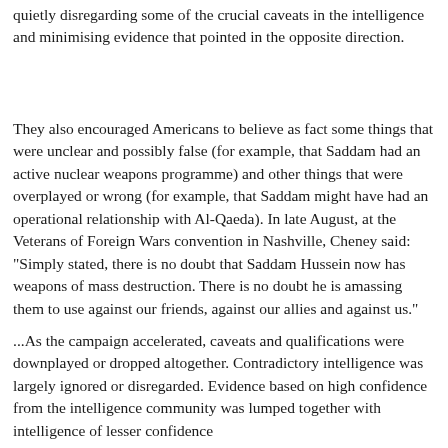quietly disregarding some of the crucial caveats in the intelligence and minimising evidence that pointed in the opposite direction.
They also encouraged Americans to believe as fact some things that were unclear and possibly false (for example, that Saddam had an active nuclear weapons programme) and other things that were overplayed or wrong (for example, that Saddam might have had an operational relationship with Al-Qaeda). In late August, at the Veterans of Foreign Wars convention in Nashville, Cheney said: "Simply stated, there is no doubt that Saddam Hussein now has weapons of mass destruction. There is no doubt he is amassing them to use against our friends, against our allies and against us."
...As the campaign accelerated, caveats and qualifications were downplayed or dropped altogether. Contradictory intelligence was largely ignored or disregarded. Evidence based on high confidence from the intelligence community was lumped together with intelligence of lesser confidence